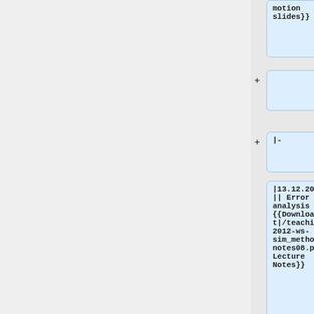motion
slides}}
+
+ |-
|13.12.2012 || Error analysis || {{DownloadExt|/teaching/2012-ws-sim_methods/notes08.pdf|Lecture Notes}}
+
+ |-
|10.01.2013 || Monte-